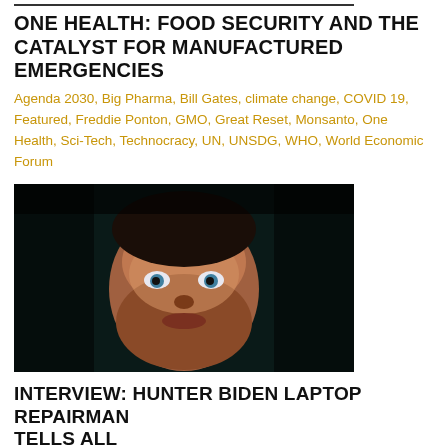ONE HEALTH: FOOD SECURITY AND THE CATALYST FOR MANUFACTURED EMERGENCIES
Agenda 2030, Big Pharma, Bill Gates, climate change, COVID 19, Featured, Freddie Ponton, GMO, Great Reset, Monsanto, One Health, Sci-Tech, Technocracy, UN, UNSDG, WHO, World Economic Forum
[Figure (photo): Close-up photo of a man's face with wide eyes, dark background, lit from below]
INTERVIEW: HUNTER BIDEN LAPTOP REPAIRMAN TELLS ALL
FBI, Featured, Hunter Biden, Joe Biden, US News
[Figure (photo): Photo of people in black tactical gear and helmets]